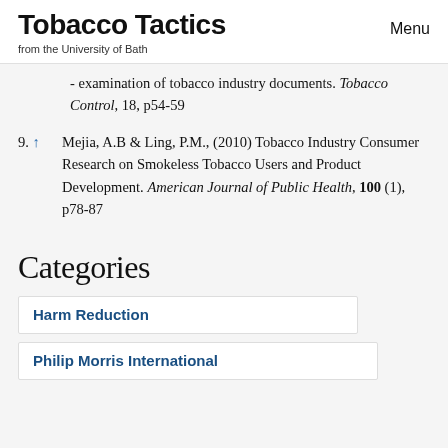Tobacco Tactics
from the University of Bath
Menu
examination of tobacco industry documents. Tobacco Control, 18, p54-59
9. ↑ Mejia, A.B & Ling, P.M., (2010) Tobacco Industry Consumer Research on Smokeless Tobacco Users and Product Development. American Journal of Public Health, 100 (1), p78-87
Categories
Harm Reduction
Philip Morris International